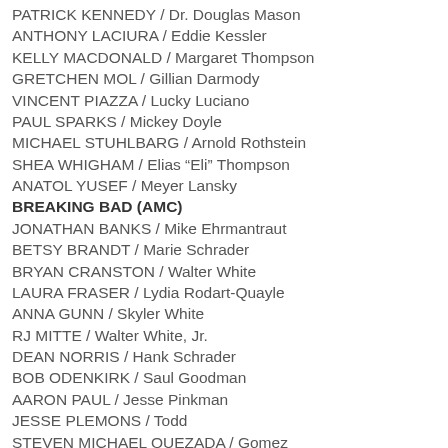PATRICK KENNEDY / Dr. Douglas Mason
ANTHONY LACIURA / Eddie Kessler
KELLY MACDONALD / Margaret Thompson
GRETCHEN MOL / Gillian Darmody
VINCENT PIAZZA / Lucky Luciano
PAUL SPARKS / Mickey Doyle
MICHAEL STUHLBARG / Arnold Rothstein
SHEA WHIGHAM / Elias “Eli” Thompson
ANATOL YUSEF / Meyer Lansky
BREAKING BAD (AMC)
JONATHAN BANKS / Mike Ehrmantraut
BETSY BRANDT / Marie Schrader
BRYAN CRANSTON / Walter White
LAURA FRASER / Lydia Rodart-Quayle
ANNA GUNN / Skyler White
RJ MITTE / Walter White, Jr.
DEAN NORRIS / Hank Schrader
BOB ODENKIRK / Saul Goodman
AARON PAUL / Jesse Pinkman
JESSE PLEMONS / Todd
STEVEN MICHAEL QUEZADA / Gomez
DOWNTON ABBEY (PBS)